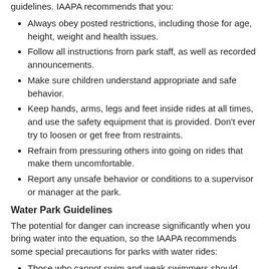guidelines. IAAPA recommends that you:
Always obey posted restrictions, including those for age, height, weight and health issues.
Follow all instructions from park staff, as well as recorded announcements.
Make sure children understand appropriate and safe behavior.
Keep hands, arms, legs and feet inside rides at all times, and use the safety equipment that is provided. Don't ever try to loosen or get free from restraints.
Refrain from pressuring others into going on rides that make them uncomfortable.
Report any unsafe behavior or conditions to a supervisor or manager at the park.
Water Park Guidelines
The potential for danger can increase significantly when you bring water into the equation, so the IAAPA recommends some special precautions for parks with water rides:
Those who cannot swim and weak swimmers should wear a life vest approved by the Coast Guard; children under 4 feet